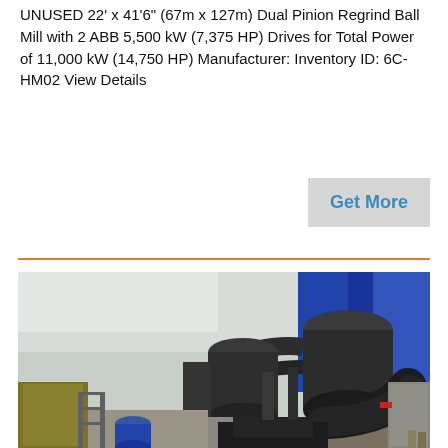UNUSED 22' x 41'6" (67m x 127m) Dual Pinion Regrind Ball Mill with 2 ABB 5,500 kW (7,375 HP) Drives for Total Power of 11,000 kW (14,750 HP) Manufacturer: Inventory ID: 6C-HM02 View Details
[Figure (photo): Industrial ball mill equipment photograph showing large cylindrical grinding mill with connected piping, dust collectors, and blue structural supports at an industrial facility]